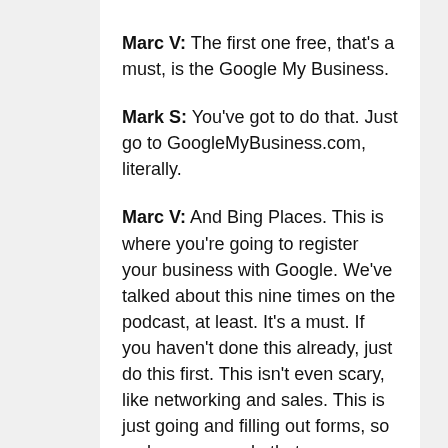Marc V: The first one free, that's a must, is the Google My Business.
Mark S: You've got to do that. Just go to GoogleMyBusiness.com, literally.
Marc V: And Bing Places. This is where you're going to register your business with Google. We've talked about this nine times on the podcast, at least. It's a must. If you haven't done this already, just do this first. This isn't even scary, like networking and sales. This is just going and filling out forms, so make sure you do that.
Following that, you want to do a Facebook page?